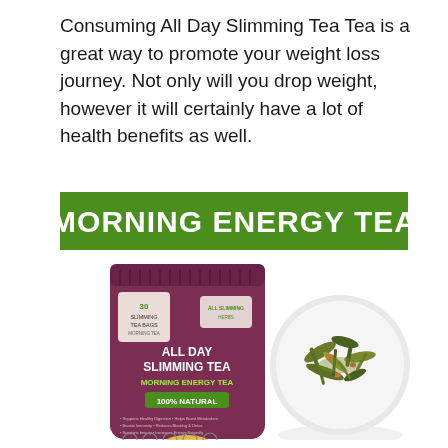Consuming All Day Slimming Tea Tea is a great way to promote your weight loss journey. Not only will you drop weight, however it will certainly have a lot of health benefits as well.
[Figure (photo): Product photo collage: Green banner reading 'MORNING ENERGY TEA', a purple resealable pouch of 'All Day Slimming Tea Morning Energy Tea' with 30 slimming tea bags label and 100% Natural badge, beside a white bowl filled with loose-leaf herbal tea blend.]